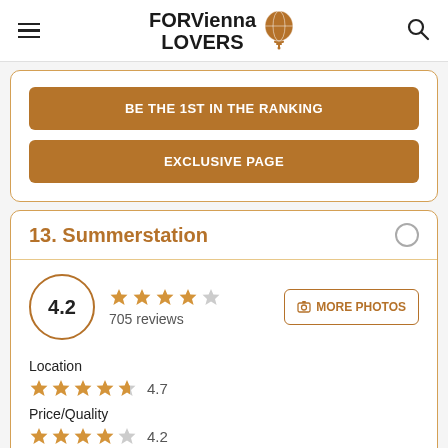FORVienna LOVERS
BE THE 1ST IN THE RANKING
EXCLUSIVE PAGE
13. Summerstation
[Figure (other): Rating: 4.2 stars (4.2 out of 5), 705 reviews, with a MORE PHOTOS button]
Location
4.7
Price/Quality
4.2